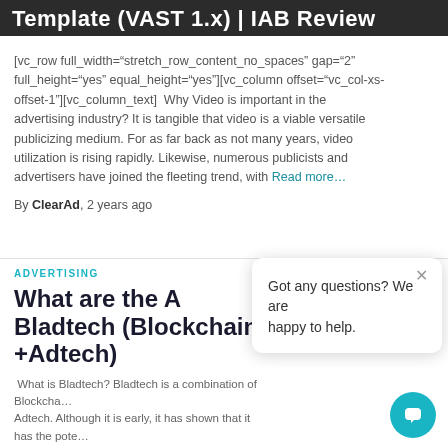Template (VAST 1.x) | IAB Review
[vc_row full_width="stretch_row_content_no_spaces" gap="2" full_height="yes" equal_height="yes"][vc_column offset="vc_col-xs-offset-1"][vc_column_text]  Why Video is important in the advertising industry? It is tangible that video is a viable versatile publicizing medium. For as far back as not many years, video utilization is rising rapidly. Likewise, numerous publicists and advertisers have joined the fleeting trend, with Read more…
By ClearAd, 2 years ago
ADVERTISING
What are the A... Bladtech (Blockchain +Adtech)
What is Bladtech? Bladtech is a combination of Blockchain... Adtech. Although it is early, it has shown that it has the potential to bring about fundamental change in the digital advertising industry.
Got any questions? We are happy to help.